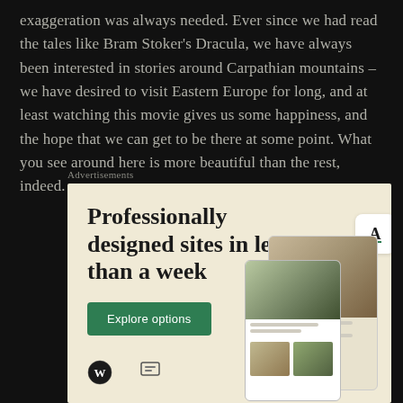exaggeration was always needed. Ever since we had read the tales like Bram Stoker's Dracula, we have always been interested in stories around Carpathian mountains – we have desired to visit Eastern Europe for long, and at least watching this movie gives us some happiness, and the hope that we can get to be there at some point. What you see around here is more beautiful than the rest, indeed.
Advertisements
[Figure (infographic): WordPress advertisement banner with cream/beige background. Headline reads 'Professionally designed sites in less than a week' with a green 'Explore options' button and device mockup screenshots showing food-related website designs. WordPress logo (circle with W) at bottom left.]